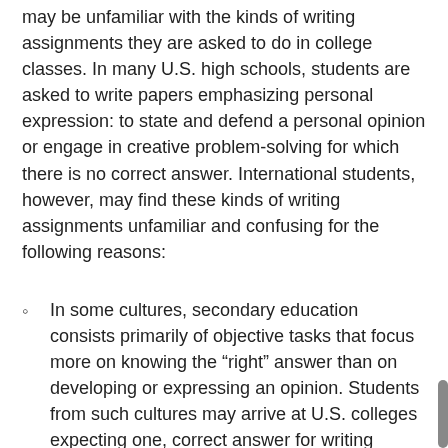may be unfamiliar with the kinds of writing assignments they are asked to do in college classes. In many U.S. high schools, students are asked to write papers emphasizing personal expression: to state and defend a personal opinion or engage in creative problem-solving for which there is no correct answer. International students, however, may find these kinds of writing assignments unfamiliar and confusing for the following reasons:
In some cultures, secondary education consists primarily of objective tasks that focus more on knowing the “right” answer than on developing or expressing an opinion. Students from such cultures may arrive at U.S. colleges expecting one, correct answer for writing assignments meant to prompt personal expression.
In some cultures, the role of a student is simply to